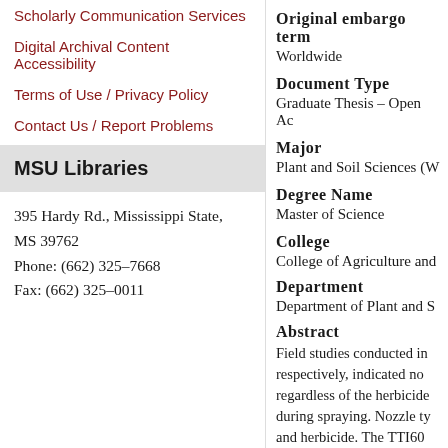Scholarly Communication Services
Digital Archival Content Accessibility
Terms of Use / Privacy Policy
Contact Us / Report Problems
MSU Libraries
395 Hardy Rd., Mississippi State, MS 39762
Phone: (662) 325-7668
Fax: (662) 325-0011
Original embargo term
Worldwide
Document Type
Graduate Thesis - Open Ac
Major
Plant and Soil Sciences (W
Degree Name
Master of Science
College
College of Agriculture and
Department
Department of Plant and S
Abstract
Field studies conducted in respectively, indicated no regardless of the herbicide during spraying. Nozzle ty and herbicide. The TTI60 and herbicide. The TTI60